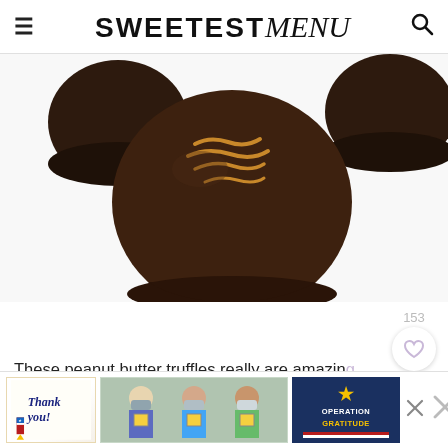SWEETEST menu
[Figure (photo): Close-up photo of chocolate peanut butter truffles on white background. A dark chocolate-coated truffle ball in the foreground has peanut butter drizzle on top. Two more truffles visible in the background.]
153
These peanut butter truffles really are amazin…
You'll love their creamy texture that comes from
the… chocolate
[Figure (other): Advertisement banner: Thank you note with American flag pencil on left, photo of people wearing masks in middle, Operation Gratitude logo on right.]